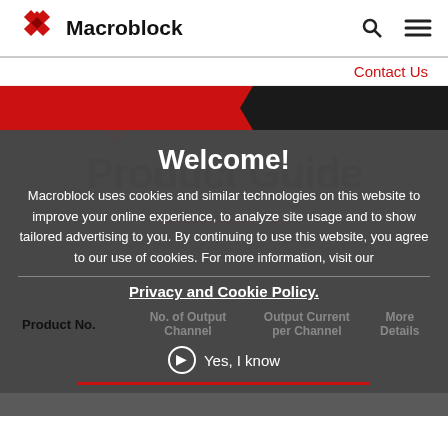Macroblock
Contact Us
Product Guide
Welcome!
TAB Backlight
Macroblock uses cookies and similar technologies on this website to improve your online experience, to analyze site usage and to show tailored advertising to you. By continuing to use this website, you agree to our use of cookies. For more information, visit our
Privacy and Cookie Policy.
| Product No. | No. of Output Channel | Output Current per Channel | More Details |
| --- | --- | --- | --- |
Yes, I know